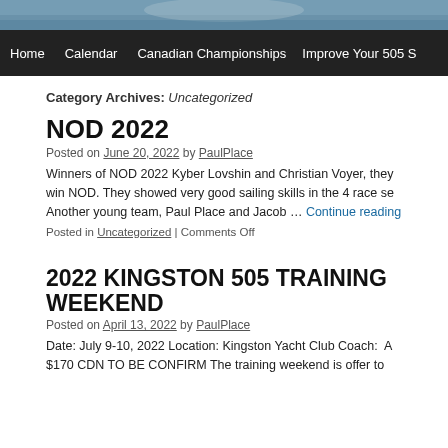[Figure (screenshot): Website header photo strip showing sailing/boating image]
Home | Calendar | Canadian Championships | Improve Your 505 S
Category Archives: Uncategorized
NOD 2022
Posted on June 20, 2022 by PaulPlace
Winners of NOD 2022 Kyber Lovshin and Christian Voyer, they win NOD. They showed very good sailing skills in the 4 race se Another young team, Paul Place and Jacob … Continue reading
Posted in Uncategorized | Comments Off
2022 KINGSTON 505 TRAINING WEEKEND
Posted on April 13, 2022 by PaulPlace
Date: July 9-10, 2022 Location: Kingston Yacht Club Coach:  A $170 CDN TO BE CONFIRM The training weekend is offer to